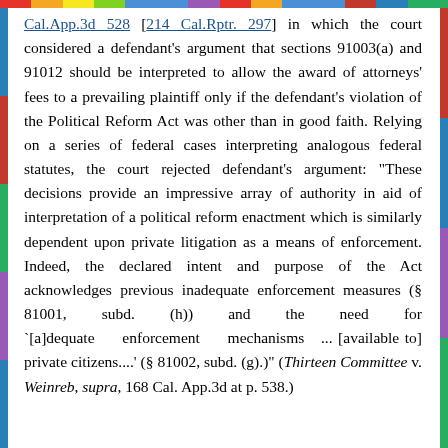Cal.App.3d 528 [214 Cal.Rptr. 297] in which the court considered a defendant's argument that sections 91003(a) and 91012 should be interpreted to allow the award of attorneys' fees to a prevailing plaintiff only if the defendant's violation of the Political Reform Act was other than in good faith. Relying on a series of federal cases interpreting analogous federal statutes, the court rejected defendant's argument: "These decisions provide an impressive array of authority in aid of interpretation of a political reform enactment which is similarly dependent upon private litigation as a means of enforcement. Indeed, the declared intent and purpose of the Act acknowledges previous inadequate enforcement measures (§ 81001, subd. (h)) and the need for `[a]dequate enforcement mechanisms ... [available to] private citizens....' (§ 81002, subd. (g).)" (Thirteen Committee v. Weinreb, supra, 168 Cal. App.3d at p. 538.)